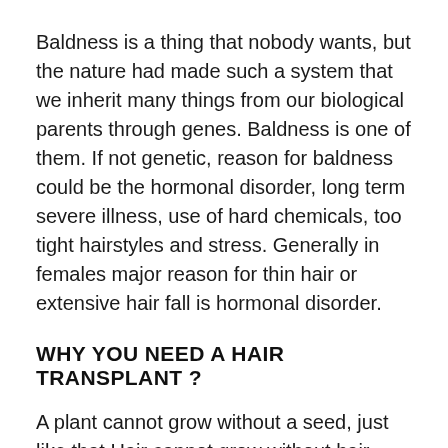Baldness is a thing that nobody wants, but the nature had made such a system that we inherit many things from our biological parents through genes. Baldness is one of them. If not genetic, reason for baldness could be the hormonal disorder, long term severe illness, use of hard chemicals, too tight hairstyles and stress. Generally in females major reason for thin hair or extensive hair fall is hormonal disorder.
WHY YOU NEED A HAIR TRANSPLANT ?
A plant cannot grow without a seed, just like that Hair cannot grow without hair follicles, if there is no hair follicle, no oil or medicine can grow a hair. Permanent hair loss is that